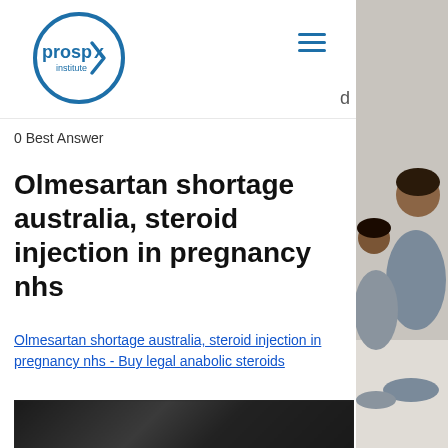[Figure (logo): Prospex Institute logo - circular blue design with text]
0 Best Answer
Olmesartan shortage australia, steroid injection in pregnancy nhs
Olmesartan shortage australia, steroid injection in pregnancy nhs - Buy legal anabolic steroids
[Figure (photo): Blurred dark image at bottom of content area]
[Figure (photo): Right sidebar photo showing people sitting at a table in discussion]